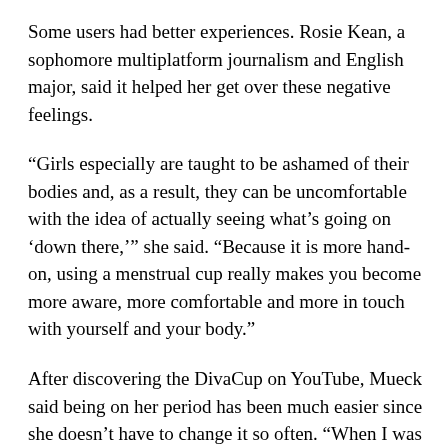Some users had better experiences. Rosie Kean, a sophomore multiplatform journalism and English major, said it helped her get over these negative feelings.
“Girls especially are taught to be ashamed of their bodies and, as a result, they can be uncomfortable with the idea of actually seeing what’s going on ‘down there,’” she said. “Because it is more hand-on, using a menstrual cup really makes you become more aware, more comfortable and more in touch with yourself and your body.”
After discovering the DivaCup on YouTube, Mueck said being on her period has been much easier since she doesn’t have to change it so often. “When I was in high school I’d have to change my tampon or pad every other class period, and it was annoying and stressful if I